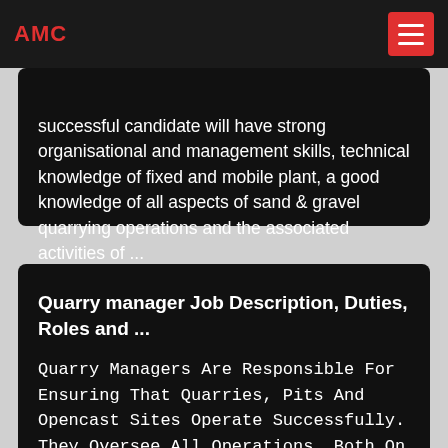AMC
successful candidate will have strong organisational and management skills, technical knowledge of fixed and mobile plant, a good knowledge of all aspects of sand & gravel quarrying operations and the associated activities of ...
Quarry manager Job Description, Duties, Roles and ...
Quarry Managers Are Responsible For Ensuring That Quarries, Pits And Opencast Sites Operate Successfully. They Oversee All Operations, Both On Site And In The Office, Manage Staff,